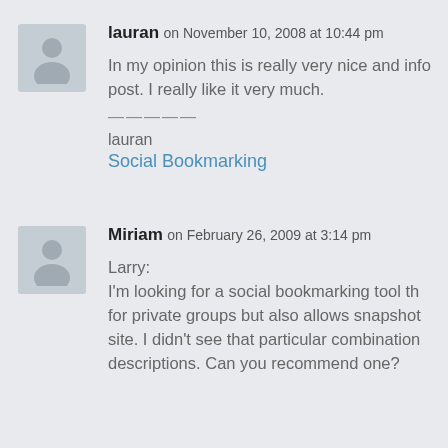lauran on November 10, 2008 at 10:44 pm
In my opinion this is really very nice and info post. I really like it very much.
————— 
lauran
Social Bookmarking
Miriam on February 26, 2009 at 3:14 pm
Larry:
I'm looking for a social bookmarking tool th for private groups but also allows snapshot site. I didn't see that particular combination descriptions. Can you recommend one?